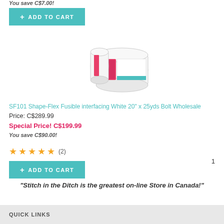You save C$7.00!
+ ADD TO CART
[Figure (photo): Product photo of SF101 Shape-Flex Fusible interfacing white bolt, showing rolled white fabric with pink label]
SF101 Shape-Flex Fusible interfacing White 20" x 25yds Bolt Wholesale
Price: C$289.99
Special Price! C$199.99
You save C$90.00!
★★★★★ (2)
+ ADD TO CART
1
"Stitch in the Ditch is the greatest on-line Store in Canada!"
QUICK LINKS